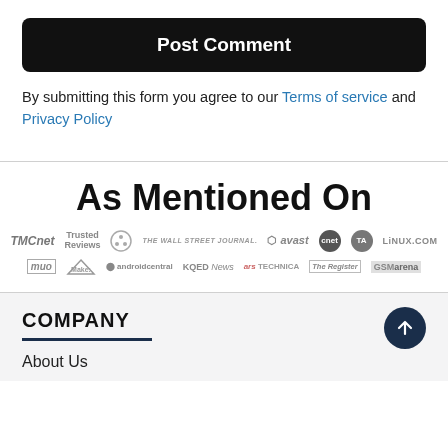Post Comment
By submitting this form you agree to our Terms of service and Privacy Policy
As Mentioned On
[Figure (logo): Row of media brand logos in grayscale: TMCnet, Trusted Reviews, Raspberry Pi, The Wall Street Journal, avast, cnet, TA, LINUX.COM, MUO, Make:, androidcentral, KQED News, ars TECHNICA, The Register, GSMArena]
COMPANY
About Us